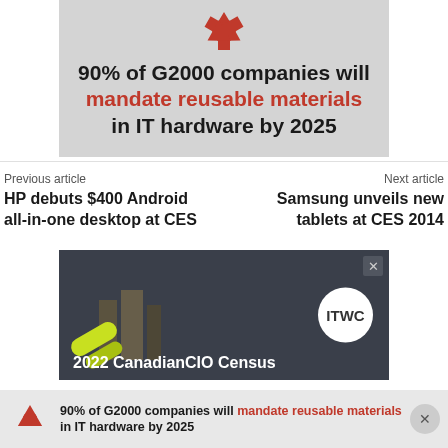[Figure (infographic): Infographic with recycling icon and text: 90% of G2000 companies will mandate reusable materials in IT hardware by 2025]
Previous article
HP debuts $400 Android all-in-one desktop at CES
Next article
Samsung unveils new tablets at CES 2014
[Figure (illustration): Advertisement banner for 2022 CanadianCIO Census with ITWC logo and decorative city/shapes graphic]
90% of G2000 companies will mandate reusable materials in IT hardware by 2025